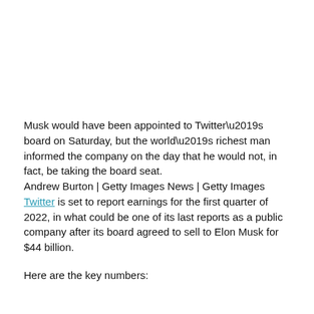Musk would have been appointed to Twitter’s board on Saturday, but the world’s richest man informed the company on the day that he would not, in fact, be taking the board seat.
Andrew Burton | Getty Images News | Getty Images
Twitter is set to report earnings for the first quarter of 2022, in what could be one of its last reports as a public company after its board agreed to sell to Elon Musk for $44 billion.
Here are the key numbers: